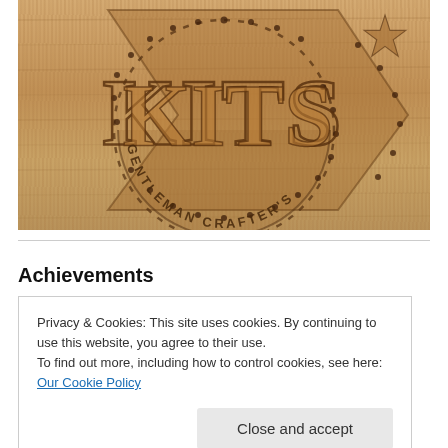[Figure (logo): Wood-engraved logo reading 'Gentleman Crafter's KITS' on a wooden board with circular dotted border and star arrow design]
Achievements
Privacy & Cookies: This site uses cookies. By continuing to use this website, you agree to their use.
To find out more, including how to control cookies, see here: Our Cookie Policy